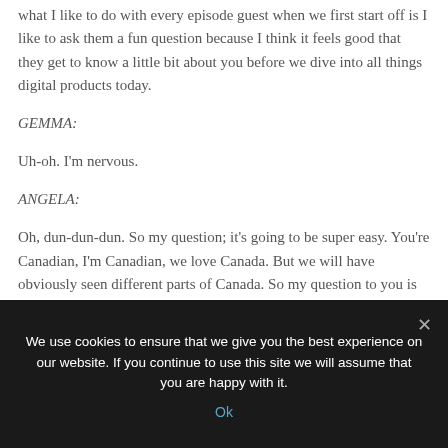What I like to do with every episode guest when we first start off is I like to ask them a fun question because I think it feels good that they get to know a little bit about you before we dive into all things digital products today.
GEMMA:
Uh-oh. I'm nervous.
ANGELA:
Oh, dun-dun-dun. So my question; it's going to be super easy. You're Canadian, I'm Canadian, we love Canada. But we will have obviously seen different parts of Canada. So my question to you is of all the places to go back home in Canada, where
We use cookies to ensure that we give you the best experience on our website. If you continue to use this site we will assume that you are happy with it.
Ok